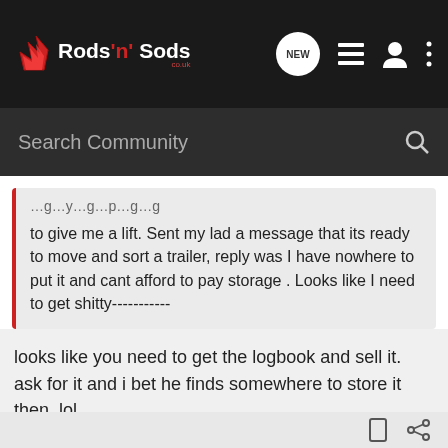Rods 'n' Sods - NEW [icons]
Search Community
to give me a lift. Sent my lad a message that its ready to move and sort a trailer, reply was I have nowhere to put it and cant afford to pay storage . Looks like I need to get shitty-----------
looks like you need to get the logbook and sell it. ask for it and i bet he finds somewhere to store it then, lol.
neil.
need a job done on your project? i may be able to help.